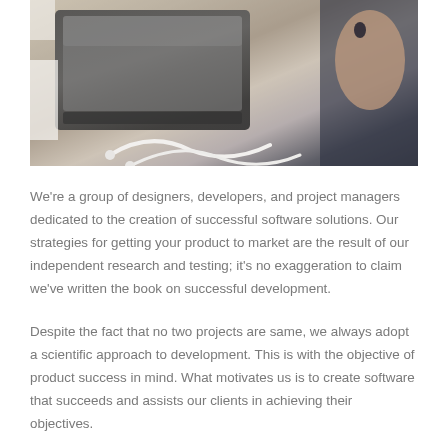[Figure (photo): A photo showing a laptop computer on a desk with white earphone/charging cables, and a person's hands in the background on a wooden surface.]
We're a group of designers, developers, and project managers dedicated to the creation of successful software solutions. Our strategies for getting your product to market are the result of our independent research and testing; it's no exaggeration to claim we've written the book on successful development.
Despite the fact that no two projects are same, we always adopt a scientific approach to development. This is with the objective of product success in mind. What motivates us is to create software that succeeds and assists our clients in achieving their objectives.